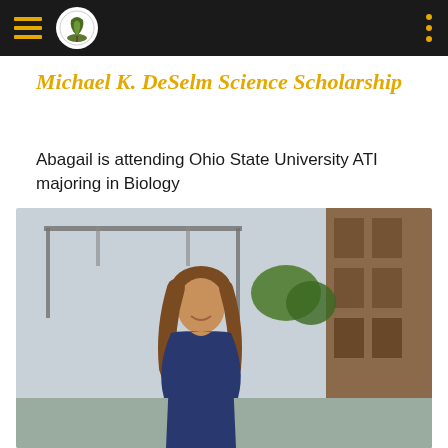Michael K. DeSelm Science Scholarship
Abagail is attending Ohio State University ATI majoring in Biology
[Figure (photo): Young woman with curly brown hair wearing a blue top, posing outdoors in front of a building with industrial structure overhead, trees in background]